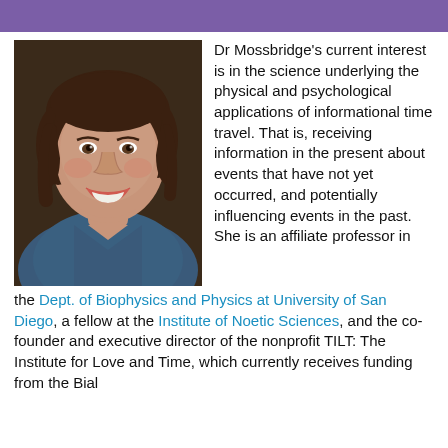[Figure (photo): Headshot of Dr. Mossbridge, a woman with short brown hair, smiling, wearing a blue top, against a dark brown background.]
Dr Mossbridge's current interest is in the science underlying the physical and psychological applications of informational time travel. That is, receiving information in the present about events that have not yet occurred, and potentially influencing events in the past. She is an affiliate professor in the Dept. of Biophysics and Physics at University of San Diego, a fellow at the Institute of Noetic Sciences, and the co-founder and executive director of the nonprofit TILT: The Institute for Love and Time, which currently receives funding from the Bial